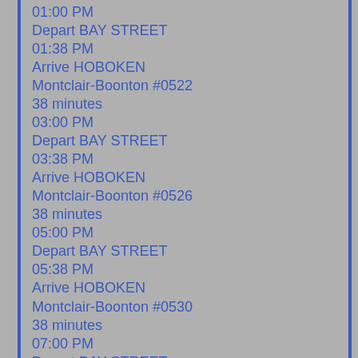01:00 PM
Depart BAY STREET
01:38 PM
Arrive HOBOKEN
Montclair-Boonton #0522
38 minutes
03:00 PM
Depart BAY STREET
03:38 PM
Arrive HOBOKEN
Montclair-Boonton #0526
38 minutes
05:00 PM
Depart BAY STREET
05:38 PM
Arrive HOBOKEN
Montclair-Boonton #0530
38 minutes
07:00 PM
Depart BAY STREET
07:38 PM
Arrive HOBOKEN
Montclair-Boonton #0534
38 minutes
09:00 PM
Depart BAY STREET
09:38 PM